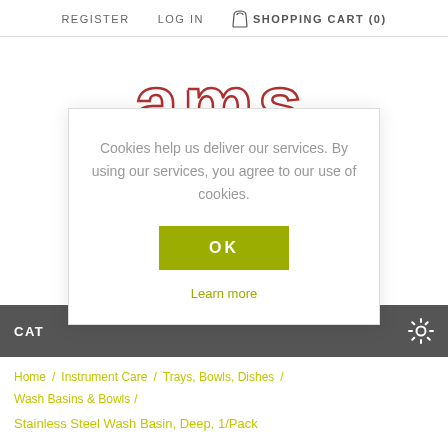REGISTER   LOG IN   SHOPPING CART (0)
[Figure (logo): AMS brand logo in outlined red letters]
Cookies help us deliver our services. By using our services, you agree to our use of cookies.
OK
Learn more
CAT
Home / Instrument Care / Trays, Bowls, Dishes / Wash Basins & Bowls
Stainless Steel Wash Basin, Deep, 1/Pack